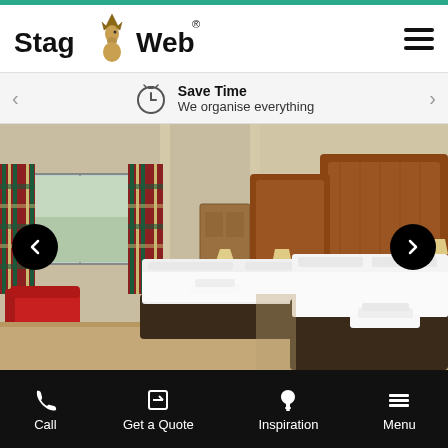[Figure (screenshot): StagWeb website screenshot showing header with logo, promotional banner, hotel room photo with navigation arrows, and bottom navigation bar]
StagWeb® — hamburger menu
Save Time — We organise everything
[Figure (photo): Hotel room with two beds, wooden headboards, white bedding, tartan curtains, red sofa chair]
Call | Get a Quote | Inspiration | Menu